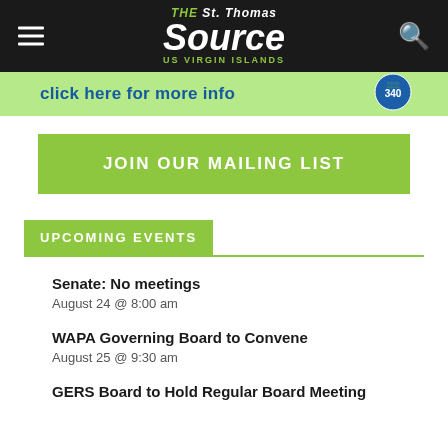THE St. Thomas Source US VIRGIN ISLANDS
[Figure (screenshot): Green ad banner with text: click here for more info, with a circular logo on the right]
JOIN OUR MAILING LIST
UPCOMING EVENTS
Senate: No meetings
August 24 @ 8:00 am
WAPA Governing Board to Convene
August 25 @ 9:30 am
GERS Board to Hold Regular Board Meeting